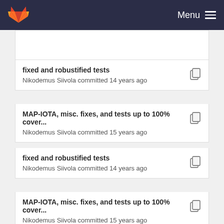GitLab — Menu
fixed and robustified tests
Nikodemus Siivola committed 14 years ago
MAP-IOTA, misc. fixes, and tests up to 100% cover...
Nikodemus Siivola committed 15 years ago
fixed and robustified tests
Nikodemus Siivola committed 14 years ago
MAP-IOTA, misc. fixes, and tests up to 100% cover...
Nikodemus Siivola committed 15 years ago